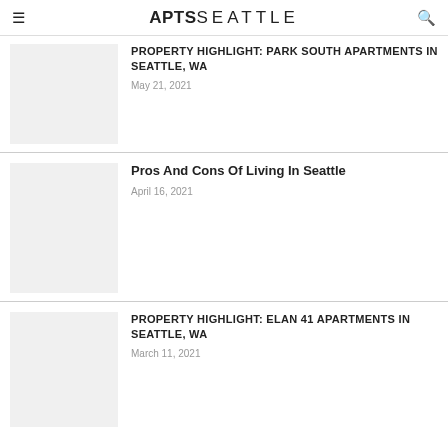APTSSEATTLE
PROPERTY HIGHLIGHT: PARK SOUTH APARTMENTS IN SEATTLE, WA
May 21, 2021
Pros And Cons Of Living In Seattle
April 16, 2021
PROPERTY HIGHLIGHT: ELAN 41 APARTMENTS IN SEATTLE, WA
March 11, 2021